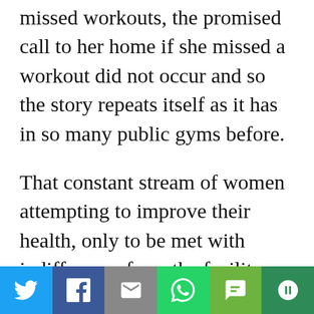missed workouts, the promised call to her home if she missed a workout did not occur and so the story repeats itself as it has in so many public gyms before.

That constant stream of women attempting to improve their health, only to be met with indifference from the facility staff, is what prompted me to think there must be a better way. Hence, Victoria Wellness private.
[Figure (other): Social sharing bar with icons for Twitter, Facebook, Email, WhatsApp, SMS, and More]